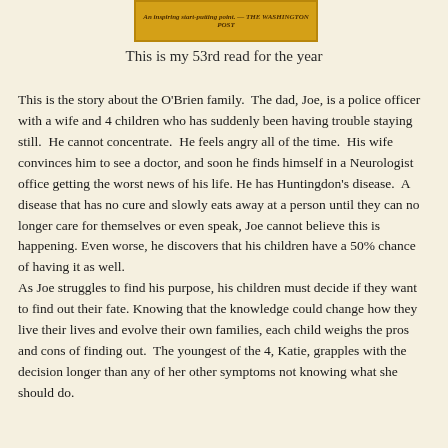[Figure (other): Book cover banner with golden/yellow background containing italic text quote: 'An inspiring start-putting point. — THE WASHINGTON POST']
This is my 53rd read for the year
This is the story about the O'Brien family.  The dad, Joe, is a police officer with a wife and 4 children who has suddenly been having trouble staying still.  He cannot concentrate.  He feels angry all of the time.  His wife convinces him to see a doctor, and soon he finds himself in a Neurologist office getting the worst news of his life.  He has Huntingdon's disease.  A disease that has no cure and slowly eats away at a person until they can no longer care for themselves or even speak, Joe cannot believe this is happening.  Even worse, he discovers that his children have a 50% chance of having it as well.
As Joe struggles to find his purpose, his children must decide if they want to find out their fate. Knowing that the knowledge could change how they live their lives and evolve their own families, each child weighs the pros and cons of finding out.  The youngest of the 4, Katie, grapples with the decision longer than any of her other symptoms not knowing what she should do.